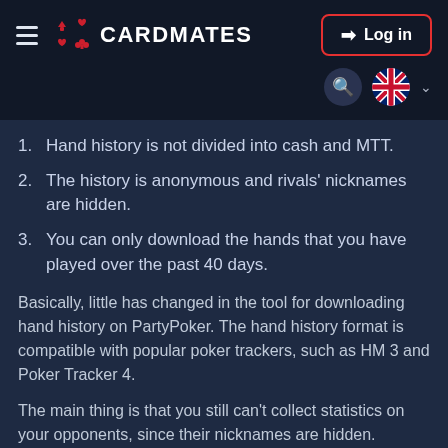CARDMATES — Log in
1. Hand history is not divided into cash and MTT.
2. The history is anonymous and rivals' nicknames are hidden.
3. You can only download the hands that you have played over the past 40 days.
Basically, little has changed in the tool for downloading hand history on PartyPoker. The hand history format is compatible with popular poker trackers, such as HM 3 and Poker Tracker 4.
The main thing is that you still can't collect statistics on your opponents, since their nicknames are hidden.